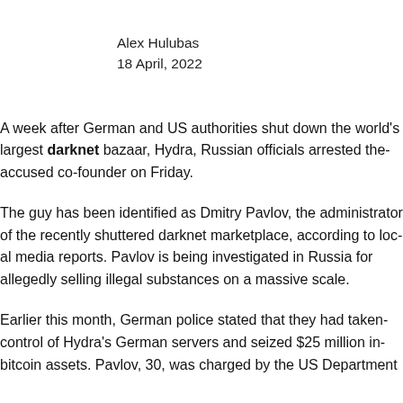Alex Hulubas
18 April, 2022
A week after German and US authorities shut down the world's largest darknet bazaar, Hydra, Russian officials arrested the accused co-founder on Friday.
The guy has been identified as Dmitry Pavlov, the administrator of the recently shuttered darknet marketplace, according to local media reports. Pavlov is being investigated in Russia for allegedly selling illegal substances on a massive scale.
Earlier this month, German police stated that they had taken control of Hydra's German servers and seized $25 million in bitcoin assets. Pavlov, 30, was charged by the US Department